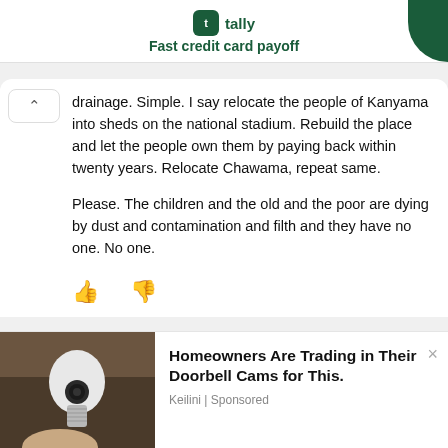[Figure (screenshot): Tally app advertisement banner with green logo and 'Fast credit card payoff' tagline]
drainage. Simple. I say relocate the people of Kanyama into sheds on the national stadium. Rebuild the place and let the people own them by paying back within twenty years. Relocate Chawama, repeat same.

Please. The children and the old and the poor are dying by dust and contamination and filth and they have no one. No one.
[Figure (screenshot): Thumbs up and thumbs down reaction icons in blue]
[Figure (screenshot): Bottom advertisement: Homeowners Are Trading in Their Doorbell Cams for This. Keilini | Sponsored, with image of a light-bulb shaped camera]